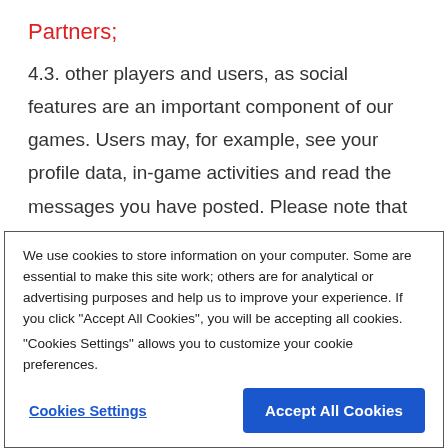Partners;
4.3. other players and users, as social features are an important component of our games. Users may, for example, see your profile data, in-game activities and read the messages you have posted. Please note that information that you voluntarily make public in your user profile, or which you disclose by posting comments will be publicly available and viewable by
We use cookies to store information on your computer. Some are essential to make this site work; others are for analytical or advertising purposes and help us to improve your experience. If you click "Accept All Cookies", you will be accepting all cookies.
"Cookies Settings" allows you to customize your cookie preferences.
Cookies Settings
Accept All Cookies